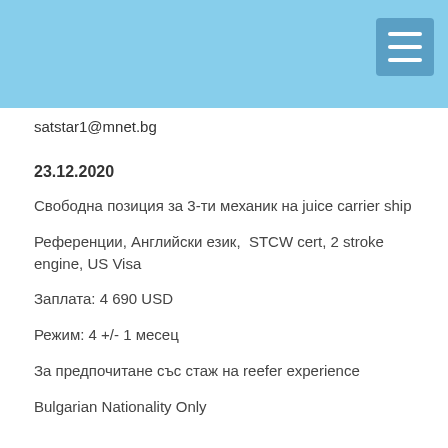satstar1@mnet.bg
23.12.2020
Свободна позиция за 3-ти механик на juice carrier ship
Референции, Английски език,  STCW cert, 2 stroke engine, US Visa
Заплата: 4 690 USD
Режим: 4 +/- 1 месец
За предпочитане със стаж на reefer experience
Bulgarian Nationality Only